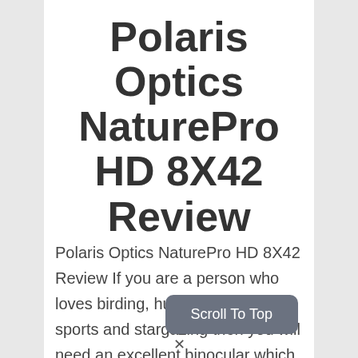Polaris Optics NaturePro HD 8X42 Review
Polaris Optics NaturePro HD 8X42 Review If you are a person who loves birding, hunting, watching sports and stargazing then you will need an excellent binocular which provides supreme quality.Before buying, you will look for many factors including lens size,